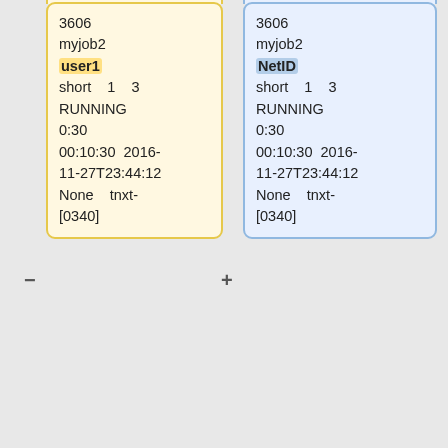3606
myjob2
user1
short 1 3
RUNNING
0:30
00:10:30 2016-11-27T23:44:12
None tnxt-[0340]
3606
myjob2
NetID
short 1 3
RUNNING
0:30
00:10:30 2016-11-27T23:44:12
None tnxt-[0340]
To cancel a job while it is pending or running, use the following command:
To see the status of one job, use the following command, where "XXXX" is the JobID:
[user1@terra1 ]$ scancel
[NetID@terra1 ]$ "queue